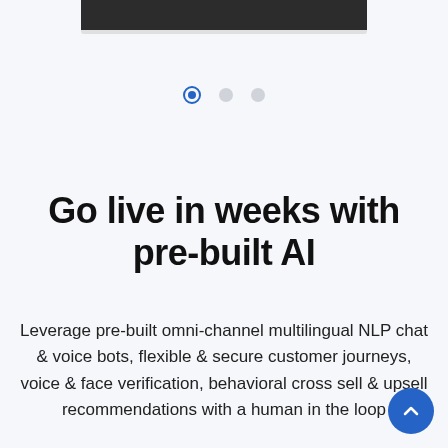[Figure (screenshot): Partial screenshot of a mobile app or website interface showing a dark image strip at the top with a light grey bottom bar]
[Figure (other): Carousel navigation dots: one active (blue circle with inner dot), two inactive (grey circles)]
Go live in weeks with pre-built AI
Leverage pre-built omni-channel multilingual NLP chat & voice bots, flexible & secure customer journeys, voice & face verification, behavioral cross sell & upsell recommendations with a human in the loop